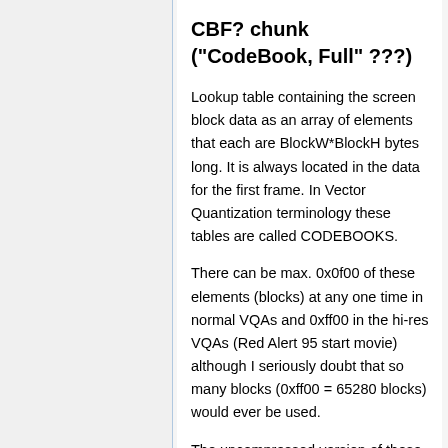CBF? chunk ("CodeBook, Full" ???)
Lookup table containing the screen block data as an array of elements that each are BlockW*BlockH bytes long. It is always located in the data for the first frame. In Vector Quantization terminology these tables are called CODEBOOKS.
There can be max. 0x0f00 of these elements (blocks) at any one time in normal VQAs and 0xff00 in the hi-res VQAs (Red Alert 95 start movie) although I seriously doubt that so many blocks (0xff00 = 65280 blocks) would ever be used.
The uncompressed version of these chunks ("CBF0") is used mainly in the